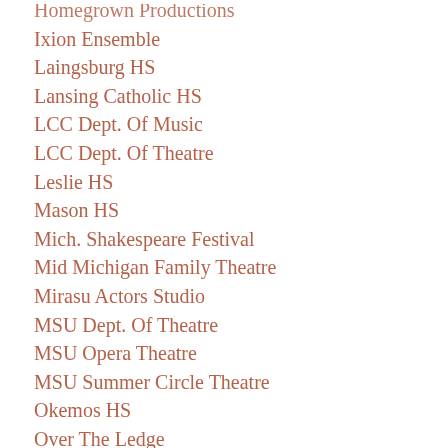Homegrown Productions
Ixion Ensemble
Laingsburg HS
Lansing Catholic HS
LCC Dept. Of Music
LCC Dept. Of Theatre
Leslie HS
Mason HS
Mich. Shakespeare Festival
Mid Michigan Family Theatre
Mirasu Actors Studio
MSU Dept. Of Theatre
MSU Opera Theatre
MSU Summer Circle Theatre
Okemos HS
Over The Ledge
Over The Ledge
Owosso Community Players
Owosso HS